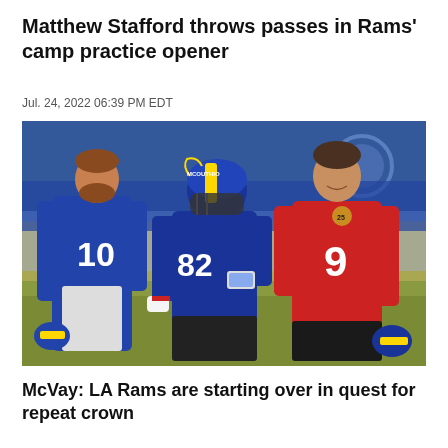Matthew Stafford throws passes in Rams' camp practice opener
Jul. 24, 2022 06:39 PM EDT
[Figure (photo): Three LA Rams players at training camp practice. Player #10 in blue jersey on left, player #82 in blue jersey and helmet (MCOUTHO) in middle, player #9 in red jersey on right, smiling.]
McVay: LA Rams are starting over in quest for repeat crown